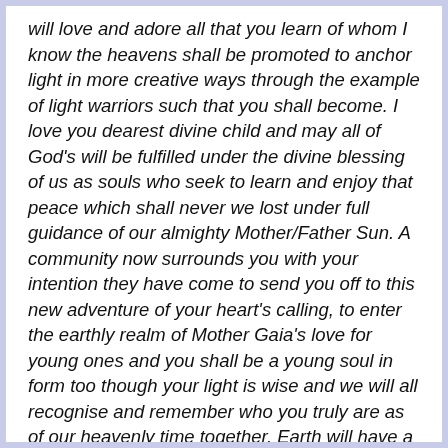will love and adore all that you learn of whom I know the heavens shall be promoted to anchor light in more creative ways through the example of light warriors such that you shall become. I love you dearest divine child and may all of God's will be fulfilled under the divine blessing of us as souls who seek to learn and enjoy that peace which shall never we lost under full guidance of our almighty Mother/Father Sun. A community now surrounds you with your intention they have come to send you off to this new adventure of your heart's calling, to enter the earthly realm of Mother Gaia's love for young ones and you shall be a young soul in form too though your light is wise and we will all recognise and remember who you truly are as of our heavenly time together. Earth will have a new interrelation of heaven as shall earth be that of the divine one when the liminal spaces are merging and the Golden Age